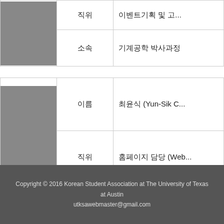| 사진 | 항목 | 내용 |
| --- | --- | --- |
| [photo] | 직위 | 이벤트기획 및 고... |
|  | 소속 | 기계공학 박사과정 |
| 사진 | 항목 | 내용 |
| --- | --- | --- |
| [photo] | 이름 | 최윤식 (Yun-Sik C...) |
|  | 직위 | 홈페이지 담당 (Web...) |
|  | 소속 | 컴퓨터과학 박사과... |
Copyright © 2016 Korean Student Association at The University of Texas at Austin
utksawebmaster@gmail.com